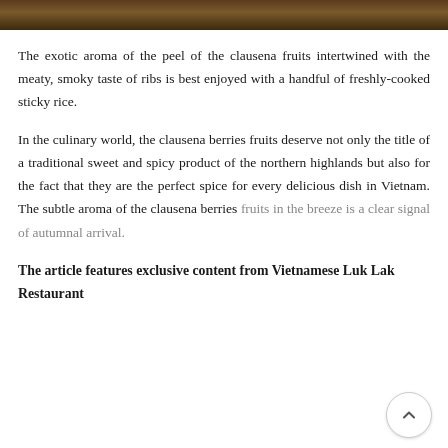[Figure (photo): Partial photo strip at top of page showing food/nature scene with dark brown and green tones]
The exotic aroma of the peel of the clausena fruits intertwined with the meaty, smoky taste of ribs is best enjoyed with a handful of freshly-cooked sticky rice.
In the culinary world, the clausena berries fruits deserve not only the title of a traditional sweet and spicy product of the northern highlands but also for the fact that they are the perfect spice for every delicious dish in Vietnam. The subtle aroma of the clausena berries fruits in the breeze is a clear signal of autumnal arrival.
The article features exclusive content from Vietnamese Luk Lak Restaurant